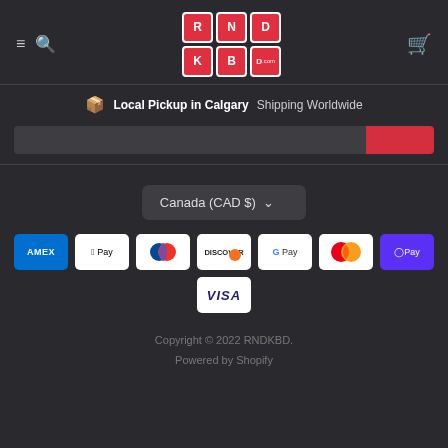[Figure (logo): RNDKBD.com logo with red keyboard key tiles arranged in a grid]
Local Pickup in Calgary  Shipping Worldwide
Canada (CAD $)
[Figure (infographic): Payment method logos: AMEX, Apple Pay, Diners Club, Discover, Google Pay, Mastercard, Shopify Pay, Visa]
Copyright © 2022 RNDKBD.
Powered by Shopify